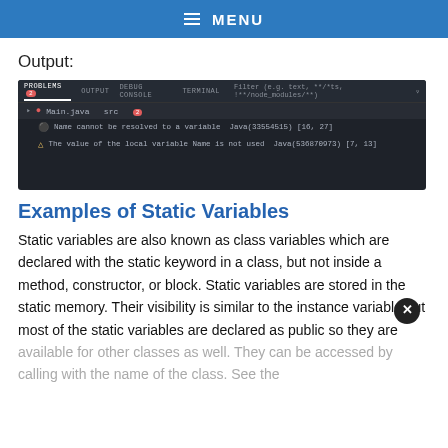≡ MENU
Output:
[Figure (screenshot): IDE Problems panel showing two Java errors: 'Name cannot be resolved to a variable Java(33554515) [16, 27]' and 'The value of the local variable Name is not used Java(536870973) [7, 13]' under Main.java src tab.]
Examples of Static Variables
Static variables are also known as class variables which are declared with the static keyword in a class, but not inside a method, constructor, or block. Static variables are stored in the static memory. Their visibility is similar to the instance variable but most of the static variables are declared as public so they are available for other classes as well. They can be accessed by calling with the name of the class. See the